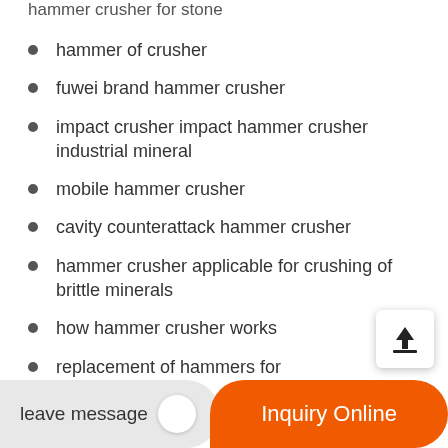hammer crusher for stone
hammer of crusher
fuwei brand hammer crusher
impact crusher impact hammer crusher industrial mineral
mobile hammer crusher
cavity counterattack hammer crusher
hammer crusher applicable for crushing of brittle minerals
how hammer crusher works
replacement of hammers for ...
leave message | Inquiry Online